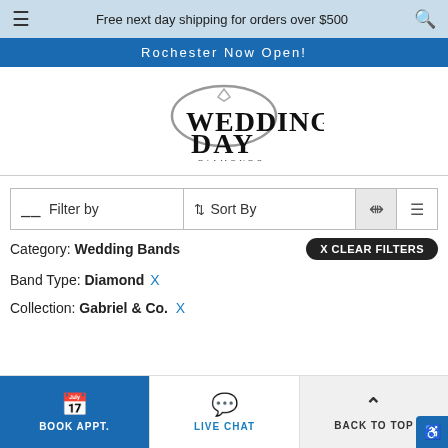Free next day shipping for orders over $500
Rochester Now Open!
[Figure (logo): Wedding Day Diamonds logo with stylized script]
Filter by   Sort By
Category: Wedding Bands  X CLEAR FILTERS
Band Type: Diamond X
Collection: Gabriel & Co. X
BOOK APPT.   LIVE CHAT   BACK TO TOP